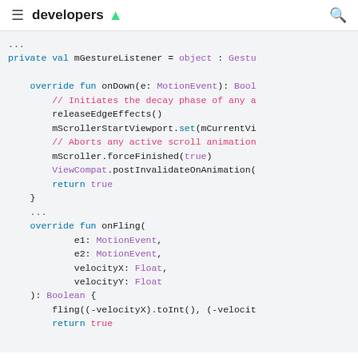developers [android]
[Figure (screenshot): Android developer documentation page showing Kotlin code snippet with syntax highlighting. Code includes mGestureListener object with onDown and onFling override functions.]